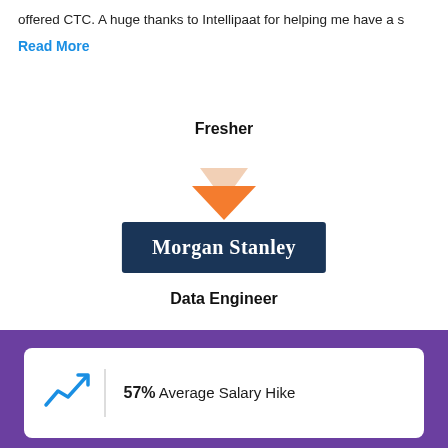offered CTC. A huge thanks to Intellipaat for helping me have a s
Read More
Fresher
[Figure (infographic): Orange downward-pointing triangle arrow indicating transition]
[Figure (logo): Morgan Stanley logo on dark navy background]
Data Engineer
[Figure (infographic): 57% Average Salary Hike stat card with upward trending blue arrow icon on purple background]